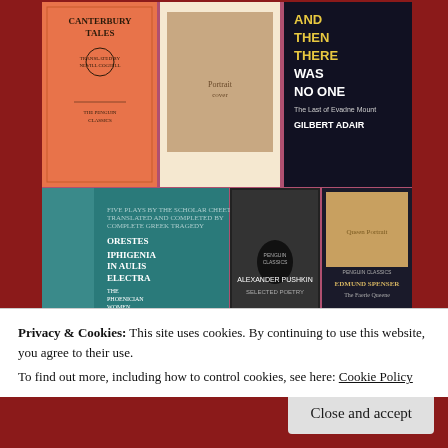[Figure (photo): A collection of books displayed together. Visible titles include: Canterbury Tales (Penguin Classics, orange spine), a book with a woman portrait cover, 'And Then There Was No One - The Last of Evadne Mount' by Gilbert Adair, Euripides III (teal cover with plays: Orestes, Iphigenia in Aulis, Electra, The Phoenician Women, The Bacchae), Alexander Pushkin Selected Poetry (Penguin Classics), and Edmund Spenser The Faerie Queene (Penguin Classics) with a portrait of Queen Elizabeth I.]
Privacy & Cookies: This site uses cookies. By continuing to use this website, you agree to their use.
To find out more, including how to control cookies, see here: Cookie Policy
Close and accept